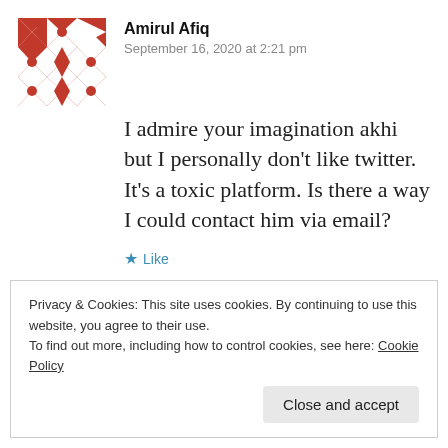[Figure (illustration): Red and white geometric/quilt pattern avatar for user Amirul Afiq]
Amirul Afiq
September 16, 2020 at 2:21 pm
I admire your imagination akhi but I personally don't like twitter. It's a toxic platform. Is there a way I could contact him via email?
★ Like
[Figure (illustration): Teal/blue geometric avatar for user Taha (partially visible)]
Taha
Privacy & Cookies: This site uses cookies. By continuing to use this website, you agree to their use.
To find out more, including how to control cookies, see here: Cookie Policy
Close and accept
★ Like